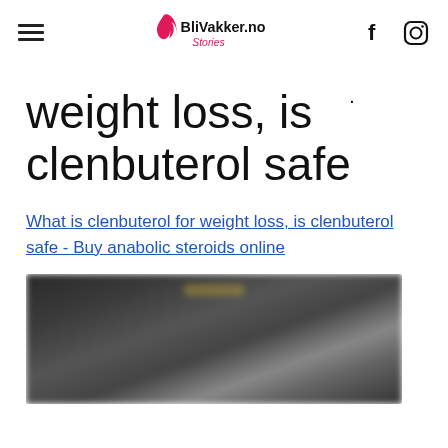BliVakker.no Stories — navigation header with hamburger menu, logo, and social icons (Facebook, Instagram)
weight loss, is clenbuterol safe
What is clenbuterol for weight loss, is clenbuterol safe - Buy anabolic steroids online
[Figure (photo): A blurred dark photograph, appears to show a person, content is obscured]